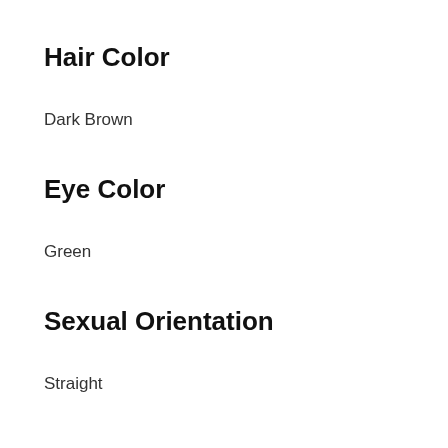Hair Color
Dark Brown
Eye Color
Green
Sexual Orientation
Straight